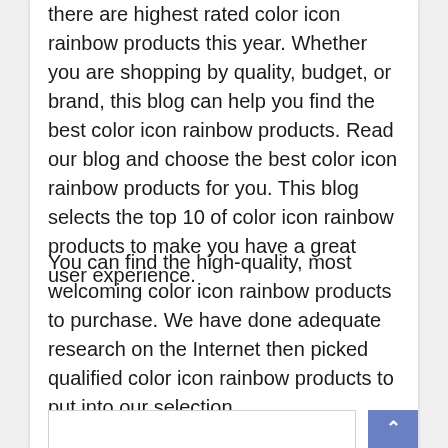there are highest rated color icon rainbow products this year. Whether you are shopping by quality, budget, or brand, this blog can help you find the best color icon rainbow products. Read our blog and choose the best color icon rainbow products for you. This blog selects the top 10 of color icon rainbow products to make you have a great user experience.
You can find the high-quality, most welcoming color icon rainbow products to purchase. We have done adequate research on the Internet then picked qualified color icon rainbow products to put into our selection.